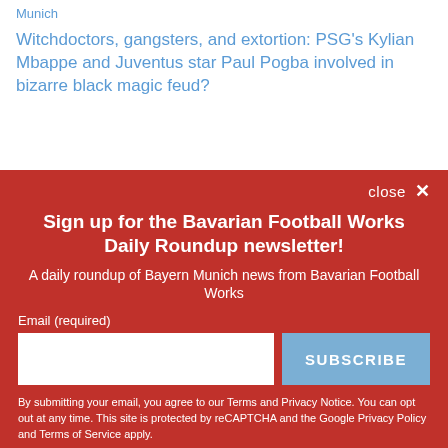Munich
Witchdoctors, gangsters, and extortion: PSG's Kylian Mbappe and Juventus star Paul Pogba involved in bizarre black magic feud?
close ✕
Sign up for the Bavarian Football Works Daily Roundup newsletter!
A daily roundup of Bayern Munich news from Bavarian Football Works
Email (required)
SUBSCRIBE
By submitting your email, you agree to our Terms and Privacy Notice. You can opt out at any time. This site is protected by reCAPTCHA and the Google Privacy Policy and Terms of Service apply.